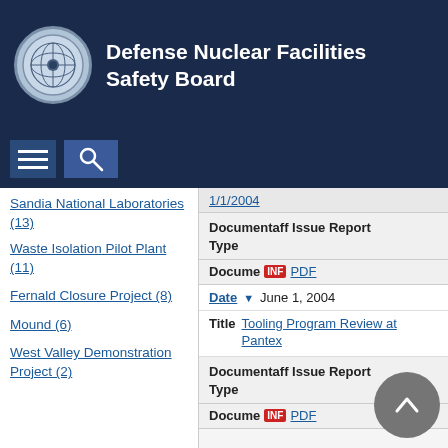Defense Nuclear Facilities Safety Board
Sandia National Laboratories (13)
Waste Isolation Pilot Plant (11)
Fernald Closure Project (8)
Mound (6)
West Valley Demonstration Project (2)
Document Type: Staff Issue Report
Document [INF] PDF
Date: June 1, 2004
Title: Tooling Program Review at Pantex
Document Type: Staff Issue Report
Document [INF] PDF